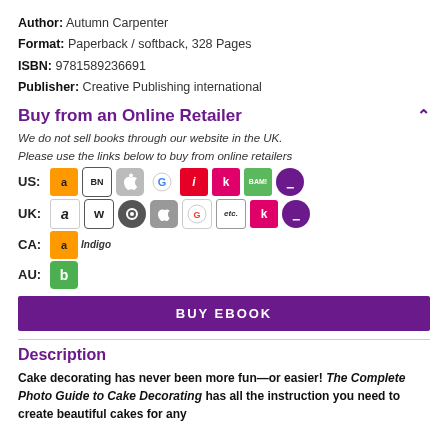Author: Autumn Carpenter
Format: Paperback / softback, 328 Pages
ISBN: 9781589236691
Publisher: Creative Publishing international
Buy from an Online Retailer
We do not sell books through our website in the UK.
Please use the links below to buy from online retailers
[Figure (infographic): Retailer icons for US, UK, CA, AU regions including Amazon, BN, Apple, Google, iBooks, Kobo, BAM, Edelweiss, Waterstones, Overdrive, etc., Indigo, Booktopia]
BUY EBOOK
Description
Cake decorating has never been more fun—or easier! The Complete Photo Guide to Cake Decorating has all the instruction you need to create beautiful cakes for any